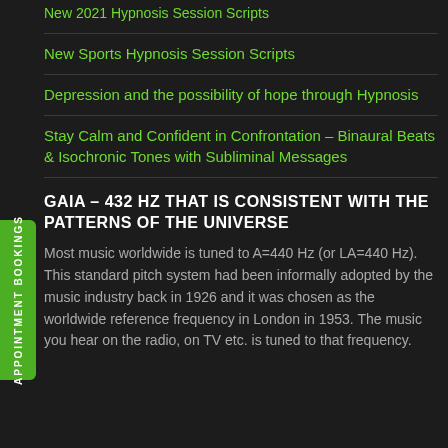New 2021 Hypnosis Session Scripts
New Sports Hypnosis Session Scripts
Depression and the possibility of hope through Hypnosis
Stay Calm and Confident in Confrontation – Binaural Beats & Isochronic Tones with Subliminal Messages
GAIA – 432 HZ THAT IS CONSISTENT WITH THE PATTERNS OF THE UNIVERSE
Most music worldwide is tuned to A=440 Hz (or LA=440 Hz). This standard pitch system had been informally adopted by the music industry back in 1926 and it was chosen as the worldwide reference frequency in London in 1953. The music you hear on the radio, on TV etc. is tuned to that frequency.